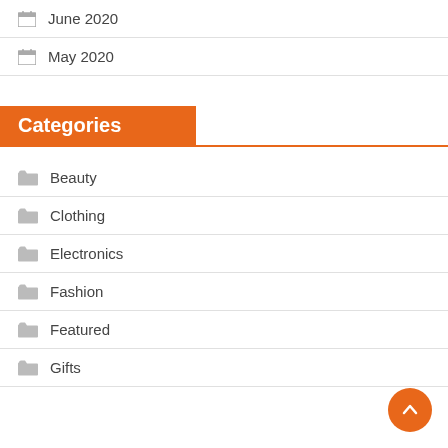June 2020
May 2020
Categories
Beauty
Clothing
Electronics
Fashion
Featured
Gifts